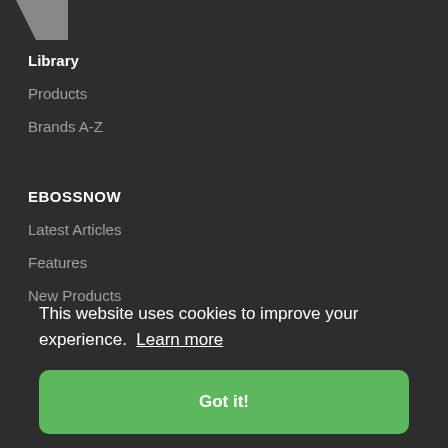[Figure (logo): Partial logo shape in gray at top left corner]
Library
Products
Brands A-Z
EBOSSNOW
Latest Articles
Features
New Products
This website uses cookies to improve your experience.  Learn more
Got it!